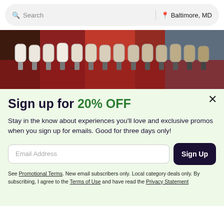Search | Baltimore, MD
[Figure (photo): A person holding up a row of dental veneer shade swatches showing various tooth colors from white to off-white/yellow, wearing a red top.]
Sign up for 20% OFF
Stay in the know about experiences you'll love and exclusive promos when you sign up for emails. Good for three days only!
Email Address
Sign Up
See Promotional Terms. New email subscribers only. Local category deals only. By subscribing, I agree to the Terms of Use and have read the Privacy Statement